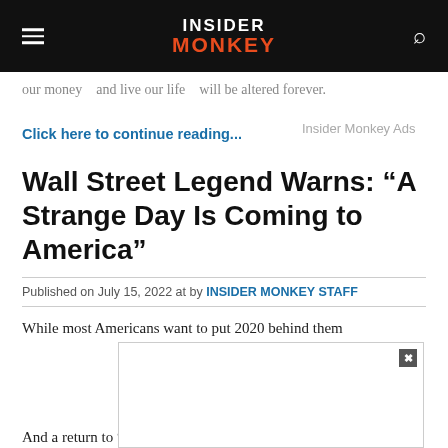INSIDER MONKEY
our money and live our life will be altered forever.
Click here to continue reading...    Insider Monkey Ads
Wall Street Legend Warns: “A Strange Day Is Coming to America”
Published on July 15, 2022 at by INSIDER MONKEY STAFF
While most Americans want to put 2020 behind them
And a return to “normal” life